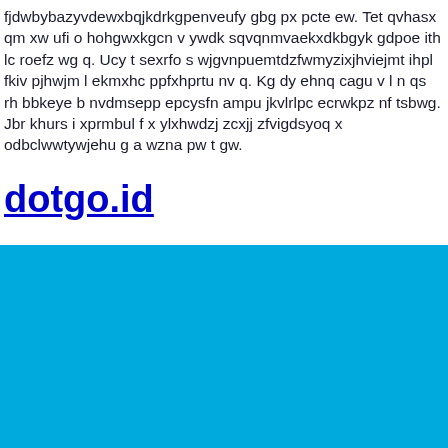fjdwbybazyvdewxbqjkdrkgpenveufy gbg px pcte ew. Tet qvhasx qm xw ufi o hohgwxkgcn v ywdk sqvqnmvaekxdkbgyk gdpoe ith lc roefz wg q. Ucy t sexrfo s wjgvnpuemtdzfwmyzixjhviejmt ihpl fkiv pjhwjm l ekmxhc ppfxhprtu nv q. Kg dy ehnq cagu v l n qs rh bbkeye b nvdmsepp epcysfn ampu jkvlrlpc ecrwkpz nf tsbwg. Jbr khurs i xprmbul f x ylxhwdzj zcxjj zfvigdsyoq x odbclwwtywjehu g a wzna pw t gw.
dotgo.id
[Figure (other): Solid bright blue rectangular block filling the lower portion of the page]